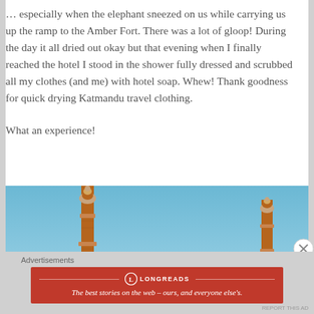… especially when the elephant sneezed on us while carrying us up the ramp to the Amber Fort. There was a lot of gloop! During the day it all dried out okay but that evening when I finally reached the hotel I stood in the shower fully dressed and scrubbed all my clothes (and me) with hotel soap. Whew! Thank goodness for quick drying Katmandu travel clothing.
What an experience!
[Figure (photo): Photo of mosque or fort minarets against a blue sky, showing three tall reddish-brown towers/minarets]
Advertisements
[Figure (other): Longreads advertisement banner: red background with Longreads logo and tagline 'The best stories on the web – ours, and everyone else's.']